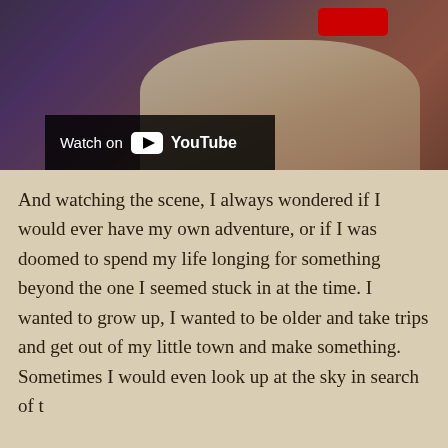[Figure (screenshot): A YouTube video screenshot showing a figure in robes against a purple/dark background, with a red YouTube button visible at top right and a 'Watch on YouTube' overlay bar at the bottom left of the video frame.]
And watching the scene, I always wondered if I would ever have my own adventure, or if I was doomed to spend my life longing for something beyond the one I seemed stuck in at the time. I wanted to grow up, I wanted to be older and take trips and get out of my little town and make something. Sometimes I would even look up at the sky in search of t
I never did find my sunset, but I did manage to see the w